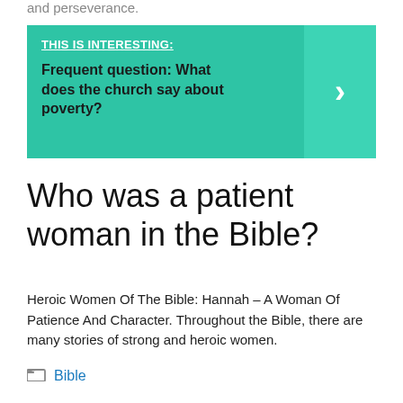and perseverance.
[Figure (infographic): Green banner with 'THIS IS INTERESTING:' header link, bold text 'Frequent question: What does the church say about poverty?' and a right-arrow chevron button on the right side.]
Who was a patient woman in the Bible?
Heroic Women Of The Bible: Hannah – A Woman Of Patience And Character. Throughout the Bible, there are many stories of strong and heroic women.
Bible